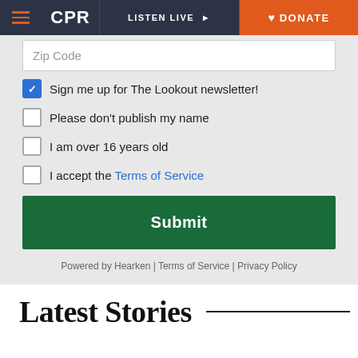CPR | LISTEN LIVE | DONATE
Zip Code
Sign me up for The Lookout newsletter!
Please don't publish my name
I am over 16 years old
I accept the Terms of Service
Submit
Powered by Hearken | Terms of Service | Privacy Policy
Latest Stories